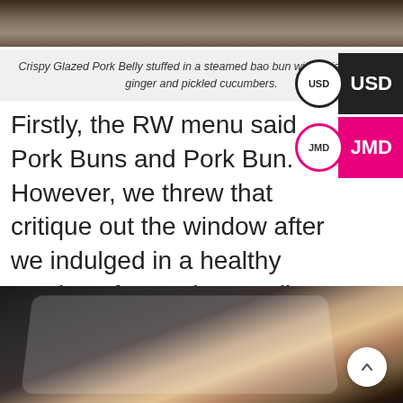[Figure (photo): Top portion of a food photo showing a dark wooden surface background]
Crispy Glazed Pork Belly stuffed in a steamed bao bun with Hoisin sauce, ginger and pickled cucumbers.
Firstly, the RW menu said Pork Buns and Pork Bun. However, we threw that critique out the window after we indulged in a healthy serving of succulent, well seasoned Pork Belly with a crisp that met you upon each bite.
[Figure (photo): Food photo showing appetizers on a white rectangular plate on a dark wooden table — bruschetta-style bites with seafood and vegetable toppings]